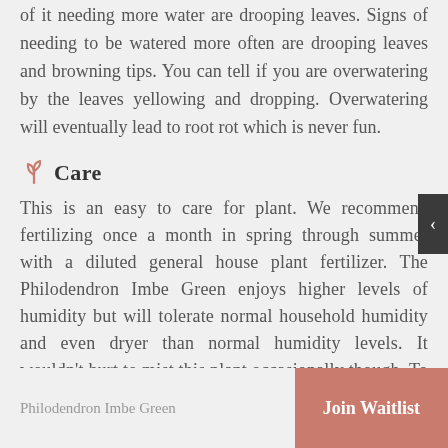of it needing more water are drooping leaves. Signs of needing to be watered more often are drooping leaves and browning tips. You can tell if you are overwatering by the leaves yellowing and dropping. Overwatering will eventually lead to root rot which is never fun.
Care
This is an easy to care for plant. We recommend fertilizing once a month in spring through summer with a diluted general house plant fertilizer. The Philodendron Imbe Green enjoys higher levels of humidity but will tolerate normal household humidity and even dryer than normal humidity levels. It wouldn't hurt to mist this plant occasionally though. To propagate this beauty simply take stem
Philodendron Imbe Green